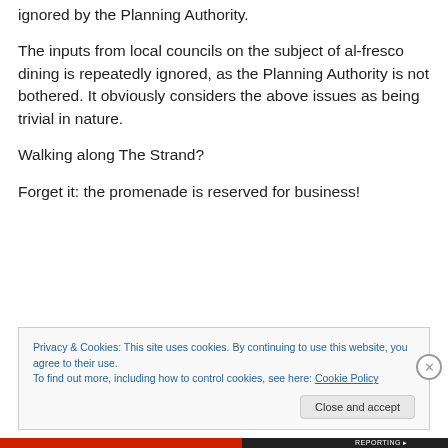ignored by the Planning Authority.
The inputs from local councils on the subject of al-fresco dining is repeatedly ignored, as the Planning Authority is not bothered. It obviously considers the above issues as being trivial in nature.
Walking along The Strand?
Forget it: the promenade is reserved for business!
Privacy & Cookies: This site uses cookies. By continuing to use this website, you agree to their use.
To find out more, including how to control cookies, see here: Cookie Policy
Close and accept